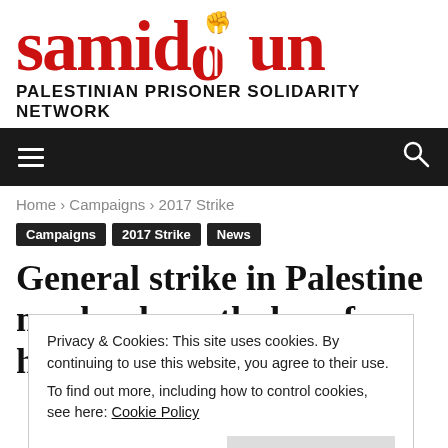[Figure (logo): Samidoun Palestinian Prisoner Solidarity Network logo with red text and raised fist above the letter 'd']
PALESTINIAN PRISONER SOLIDARITY NETWORK
[Figure (screenshot): Dark navigation bar with hamburger menu icon on left and search icon on right]
Home › Campaigns › 2017 Strike
Campaigns  2017 Strike  News
General strike in Palestine marks eleventh day of hunger
Privacy & Cookies: This site uses cookies. By continuing to use this website, you agree to their use.
To find out more, including how to control cookies, see here: Cookie Policy
Close and accept